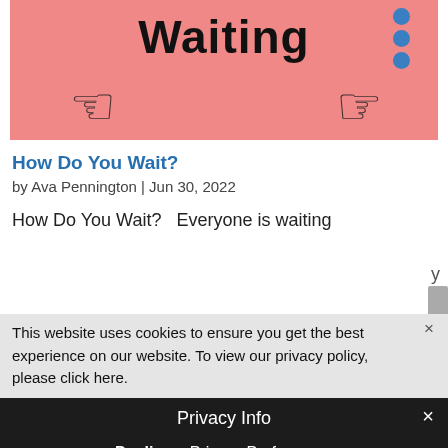[Figure (photo): Pink background hero image with bold 'Waiting' text, blue dots top right, and two hand cursor icons pointing at each other]
How Do You Wait?
by Ava Pennington | Jun 30, 2022
How Do You Wait?   Everyone is waiting
This website uses cookies to ensure you get the best experience on our website. To view our privacy policy, please click here.
Privacy Info
Decline  ›  Privacy Preferences
I Agree